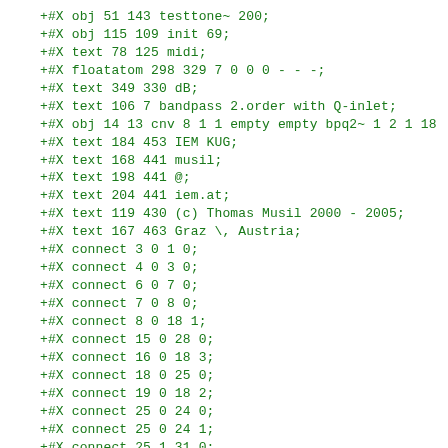+#X obj 51 143 testtone~ 200;
+#X obj 115 109 init 69;
+#X text 78 125 midi;
+#X floatatom 298 329 7 0 0 0 - - -;
+#X text 349 330 dB;
+#X text 106 7 bandpass 2.order with Q-inlet;
+#X obj 14 13 cnv 8 1 1 empty empty bpq2~ 1 2 1 18
+#X text 184 453 IEM KUG;
+#X text 168 441 musil;
+#X text 198 441 @;
+#X text 204 441 iem.at;
+#X text 119 430 (c) Thomas Musil 2000 - 2005;
+#X text 167 463 Graz \, Austria;
+#X connect 3 0 1 0;
+#X connect 4 0 3 0;
+#X connect 6 0 7 0;
+#X connect 7 0 8 0;
+#X connect 8 0 18 1;
+#X connect 15 0 28 0;
+#X connect 16 0 18 3;
+#X connect 18 0 25 0;
+#X connect 19 0 18 2;
+#X connect 25 0 24 0;
+#X connect 25 0 24 1;
+#X connect 25 1 31 0;
+#X connect 25 2 26 0;
+#X connect 26 1 11 0;
+#X connect 27 0 25 1;
+#X connect 28 0 18 0;
+#X connect 28 1 13 0;